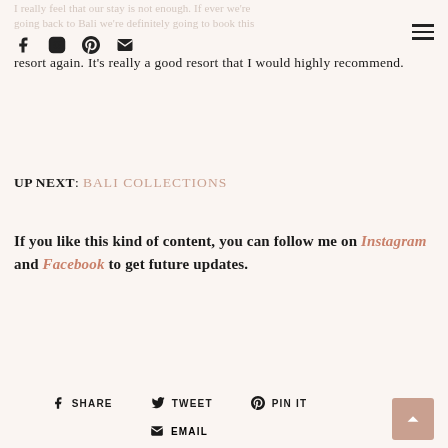I really feel that our stay is not enough. If ever we're going back to Bali we're definitely going to book this resort again. It's really a good resort that I would highly recommend.
resort again. It's really a good resort that I would highly recommend.
UP NEXT: BALI COLLECTIONS
If you like this kind of content, you can follow me on Instagram and Facebook to get future updates.
SHARE  TWEET  PIN IT  EMAIL